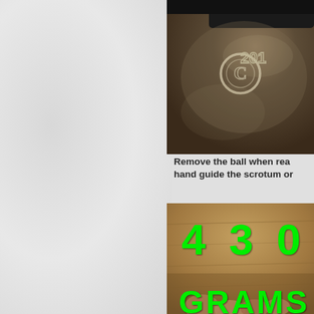[Figure (photo): Close-up photo of a metal object with embossed copyright symbol and year '©201...' engraved on a dark metallic surface]
Remove the ball when rea... hand guide the scrotum or...
[Figure (photo): Close-up photo of hands holding or manipulating an object, with large green text overlay reading '430 GRAMS']